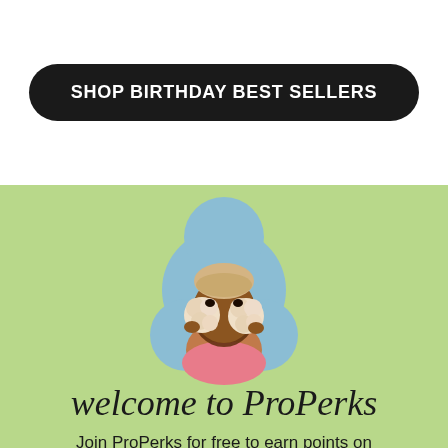SHOP BIRTHDAY BEST SELLERS
[Figure (photo): Person with short blonde hair wearing a pink top, holding two cream-colored pom-poms over their eyes, against a blue flower-shaped background on a light green background]
welcome to ProPerks
Join ProPerks for free to earn points on every purchase and exclusive deals or